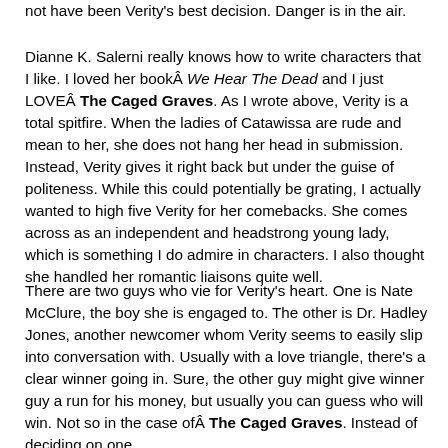not have been Verity's best decision. Danger is in the air.
Dianne K. Salerni really knows how to write characters that I like. I loved her book We Hear The Dead and I just LOVE The Caged Graves. As I wrote above, Verity is a total spitfire. When the ladies of Catawissa are rude and mean to her, she does not hang her head in submission. Instead, Verity gives it right back but under the guise of politeness. While this could potentially be grating, I actually wanted to high five Verity for her comebacks. She comes across as an independent and headstrong young lady, which is something I do admire in characters. I also thought she handled her romantic liaisons quite well.
There are two guys who vie for Verity's heart. One is Nate McClure, the boy she is engaged to. The other is Dr. Hadley Jones, another newcomer whom Verity seems to easily slip into conversation with. Usually with a love triangle, there's a clear winner going in. Sure, the other guy might give winner guy a run for his money, but usually you can guess who will win. Not so in the case of The Caged Graves. Instead of deciding on one